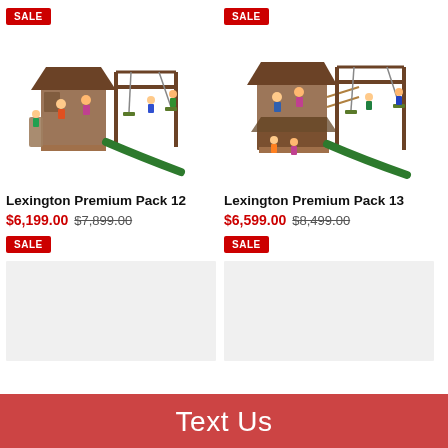[Figure (photo): Lexington Premium Pack 12 wooden playground with slide, swings, and climbing wall with children playing]
[Figure (photo): Lexington Premium Pack 13 wooden playground with slide, swings, and lower deck area with children playing]
Lexington Premium Pack 12
$6,199.00  $7,899.00
SALE
Lexington Premium Pack 13
$6,599.00  $8,499.00
SALE
Text Us